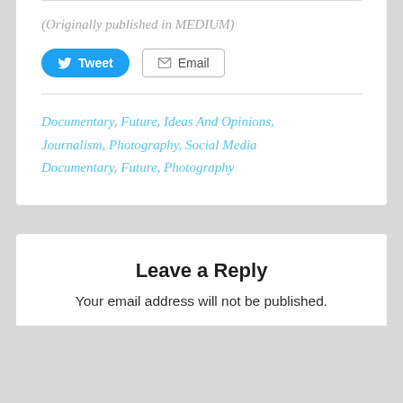(Originally published in MEDIUM)
[Figure (other): Tweet button (blue rounded) and Email button (outlined)]
Documentary, Future, Ideas And Opinions, Journalism, Photography, Social Media Documentary, Future, Photography
Leave a Reply
Your email address will not be published.